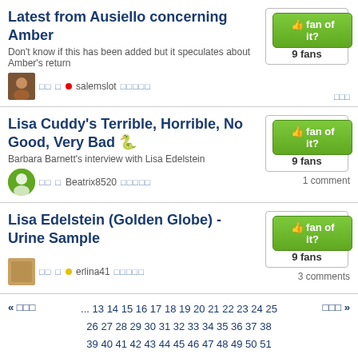Latest from Ausiello concerning Amber
Don't know if this has been added but it speculates about Amber's return
salemslot
Lisa Cuddy's Terrible, Horrible, No Good, Very Bad 🐍
Barbara Barnett's interview with Lisa Edelstein
Beatrix8520
Lisa Edelstein (Golden Globe) - Urine Sample
erlina41
« 이전  ... 13 14 15 16 17 18 19 20 21 22 23 24 25 26 27 28 29 30 31 32 33 34 35 36 37 38 39 40 41 42 43 44 45 46 47 48 49 50 51 52 53 54 55 56 57 58 59 60 61 62 63 64 65 66 67 68 69 70 71 72 73 74 75 76 77 78 79 80 81 82 83 84 85 86 87 88 89 90 91  다음 »